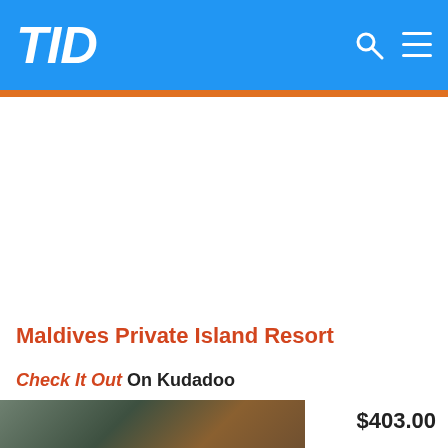TID
$0000
Maldives Private Island Resort
Check It Out On Kudadoo
[Figure (photo): Interior photo of a resort room with natural rock/stone ceiling and lighting]
$403.00